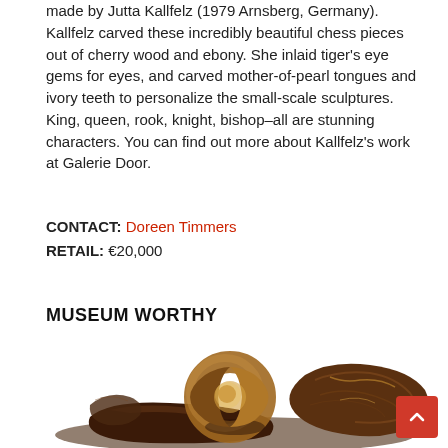made by Jutta Kallfelz (1979 Arnsberg, Germany). Kallfelz carved these incredibly beautiful chess pieces out of cherry wood and ebony. She inlaid tiger's eye gems for eyes, and carved mother-of-pearl tongues and ivory teeth to personalize the small-scale sculptures. King, queen, rook, knight, bishop–all are stunning characters. You can find out more about Kallfelz's work at Galerie Door.
CONTACT: Doreen Timmers
RETAIL: €20,000
MUSEUM WORTHY
[Figure (photo): A decorative sculpture made of polished dark wood and amber/brown horn material, featuring a circular loop form resting on a flat base, with a rough textured stone or wood element on the right side. The object appears to be a museum-worthy art piece.]